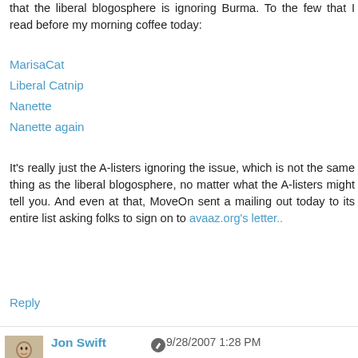that the liberal blogosphere is ignoring Burma. To the few that I read before my morning coffee today:
MarisaCat
Liberal Catnip
Nanette
Nanette again
It's really just the A-listers ignoring the issue, which is not the same thing as the liberal blogosphere, no matter what the A-listers might tell you. And even at that, MoveOn sent a mailing out today to its entire list asking folks to sign on to avaaz.org's letter..
Reply
Jon Swift  9/28/2007 1:28 PM
Thank you very much for the links Chris. When I first posted this piece on Wednesday only the three or four A-Listers and the few liberal blogs linked to in the piece had mentioned Burma. Since that time a few more have waded in. I remain as bored by the whole subject as ever.